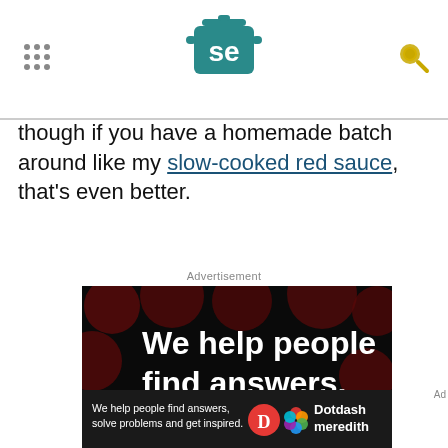SE logo and navigation header
though if you have a homemade batch around like my slow-cooked red sauce, that's even better.
Advertisement
[Figure (infographic): Dotdash Meredith advertisement: black background with dark red bokeh circles. Text reads 'We help people find answers, solve problems and get inspired.' with 'LEARN MORE' button and Dotdash and Meredith logos.]
[Figure (infographic): Dotdash Meredith bottom banner ad: dark background with text 'We help people find answers, solve problems and get inspired.' and logos for Dotdash and Meredith.]